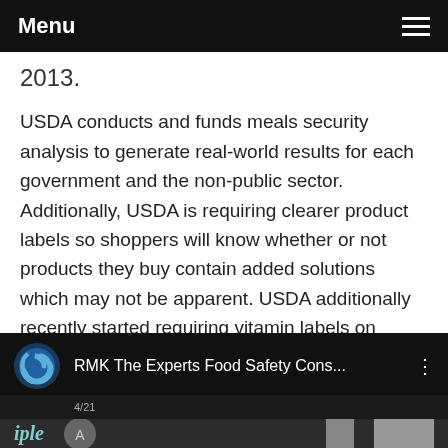Menu
2013.
USDA conducts and funds meals security analysis to generate real-world results for each government and the non-public sector. Additionally, USDA is requiring clearer product labels so shoppers will know whether or not products they buy contain added solutions which may not be apparent. USDA additionally recently started requiring vitamin labels on single-ingredient raw meat and poultry products to offer extra data to consumers.
[Figure (screenshot): Video thumbnail showing 'RMK The Experts Food Safety Cons...' with a circular blue logo on the left, three-dot menu on the right, timestamp shown, and a dark image of a presentation below.]